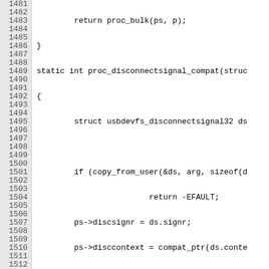[Figure (screenshot): Source code listing showing lines 1481-1511 of a C file dealing with USB device filesystem compat handling. Lines include proc_disconnectsignal_compat and get_urb32 functions with usbdevfs operations.]